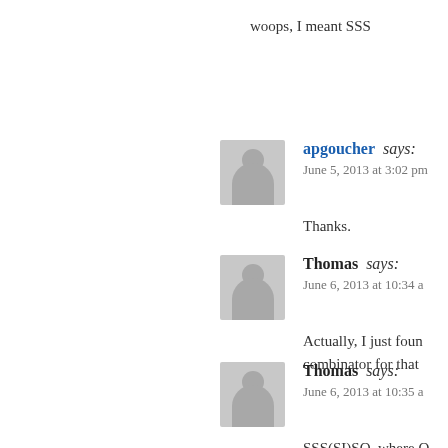woops, I meant SSS
apgoucher says: June 5, 2013 at 3:02 pm
Thanks.
Thomas says: June 6, 2013 at 10:34 a
Actually, I just foun combinator for that
Thomas says: June 6, 2013 at 10:35 a
SSS(SI)SO, where O